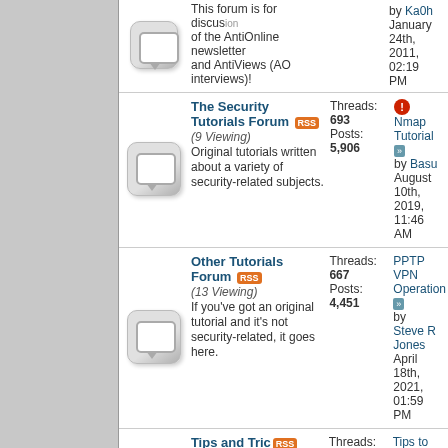This forum is for discussion of the AntiOnline newsletter and AntiViews (AO interviews)! by Ka0h January 24th, 2011, 02:19 PM
The Security Tutorials Forum
(9 Viewing) Original tutorials written about a variety of security-related subjects. Threads: 693 Posts: 5,906 Nmap Tutorial by Basu August 10th, 2019, 11:46 AM
Other Tutorials Forum
(13 Viewing) If you've got an original tutorial and it's not security-related, it goes here. Threads: 667 Posts: 4,451 PPTP VPN Operation by Steve R Jones April 18th, 2021, 01:59 PM
Tips and Tricks
(9 Viewing) If it's not detailed enough to be a tutorial, but you've got a security-related tip, it goes here! Threads: 155 Posts: 704 Tips to attract more traffic... by adamdme July 29th, 2022, 02:06 PM
| Forum Archives | Threads / Posts | Last Post |
| --- | --- | --- |
| If it's older than 2 years, you'll find it here. |  |  |